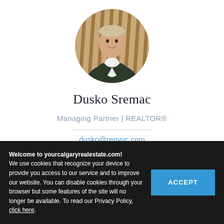[Figure (photo): Circular portrait photo of Dusko Sremac, a man in a dark plaid blazer and white shirt, standing in front of a wooden slatted background.]
Dusko Sremac
Managing Partner | REALTOR®
dusko@repyyc.com
Welcome to yourcalgaryrealestate.com! We use cookies that recognize your device to provide you access to our service and to improve our website. You can disable cookies through your browser but some features of the site will no longer be available. To read our Privacy Policy, click here.